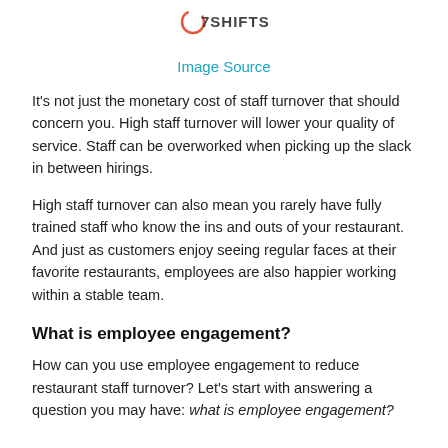7SHIFTS
Image Source
It’s not just the monetary cost of staff turnover that should concern you. High staff turnover will lower your quality of service. Staff can be overworked when picking up the slack in between hirings.
High staff turnover can also mean you rarely have fully trained staff who know the ins and outs of your restaurant. And just as customers enjoy seeing regular faces at their favorite restaurants, employees are also happier working within a stable team.
What is employee engagement?
How can you use employee engagement to reduce restaurant staff turnover? Let’s start with answering a question you may have: what is employee engagement?